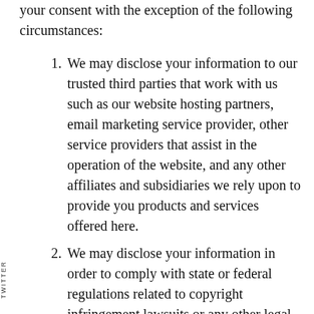your consent with the exception of the following circumstances:
We may disclose your information to our trusted third parties that work with us such as our website hosting partners, email marketing service provider, other service providers that assist in the operation of the website, and any other affiliates and subsidiaries we rely upon to provide you products and services offered here.
We may disclose your information in order to comply with state or federal regulations related to copyright infringement lawsuits or any other legal claims related to the website.
We may disclose your information to our